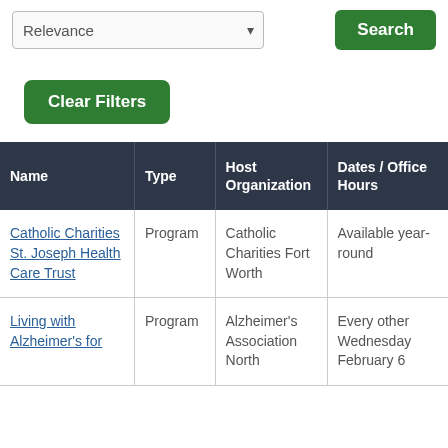[Figure (screenshot): A dropdown select box labeled 'Relevance' with a chevron arrow on the right side]
[Figure (screenshot): A green 'Search' button]
[Figure (screenshot): A green 'Clear Filters' button]
| Name | Type | Host Organization | Dates / Office Hours |
| --- | --- | --- | --- |
| Catholic Charities St. Joseph Health Care Trust | Program | Catholic Charities Fort Worth | Available year-round |
| Living with Alzheimer's for | Program | Alzheimer's Association North | Every other Wednesday February 6 |